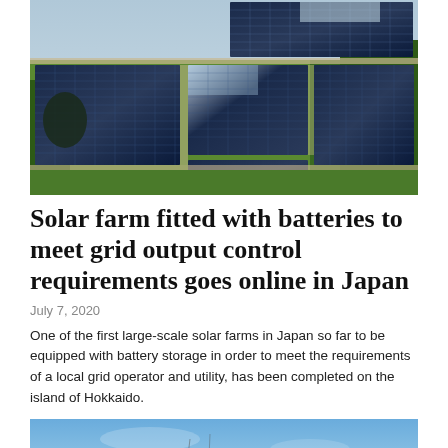[Figure (photo): Aerial view of a large-scale solar farm with rows of solar panels arranged in rectangular sections, surrounded by green fields and trees.]
Solar farm fitted with batteries to meet grid output control requirements goes online in Japan
July 7, 2020
One of the first large-scale solar farms in Japan so far to be equipped with battery storage in order to meet the requirements of a local grid operator and utility, has been completed on the island of Hokkaido.
[Figure (photo): Partial view of a second image showing a blue sky, likely depicting solar infrastructure or related equipment.]